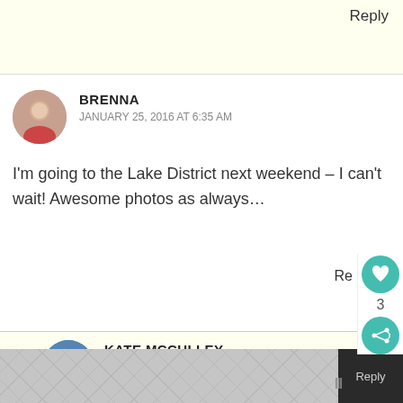Reply
BRENNA
JANUARY 25, 2016 AT 6:35 AM
I'm going to the Lake District next weekend – I can't wait! Awesome photos as always…
KATE MCCULLEY
JANUARY 31, 2016 AT 12:49 AM
Thank you! Have the most fabulous time!
WHAT'S NEXT → Chester: The Beauty of...
Reply